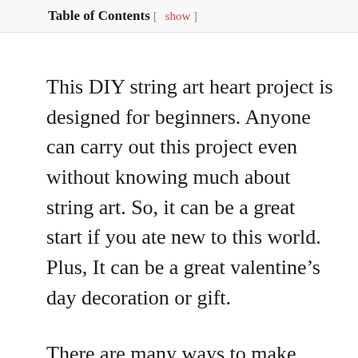Table of Contents [ show ]
This DIY string art heart project is designed for beginners. Anyone can carry out this project even without knowing much about string art. So, it can be a great start if you ate new to this world. Plus, It can be a great valentine’s day decoration or gift.
There are many ways to make string art and you can illustrate thousands of things using this. We chose heart because it is one of the most elegant things to do without much effort. Plus, you can make a heart with just a